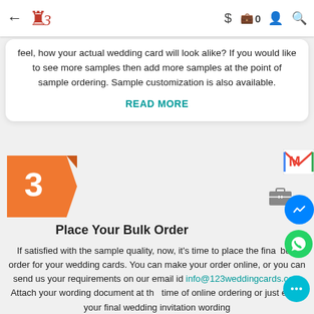Navigation bar with back arrow, logo (123weddingcards), dollar sign, bag with 0, profile icon, search icon
feel, how your actual wedding card will look alike? If you would like to see more samples then add more samples at the point of sample ordering. Sample customization is also available.
READ MORE
[Figure (infographic): Orange pentagon/badge shape with number 3]
Place Your Bulk Order
If satisfied with the sample quality, now, it’s time to place the final bulk order for your wedding cards. You can make your order online, or you can send us your requirements on our email id info@123weddingcards.com Attach your wording document at the time of online ordering or just email your final wedding invitation wording.